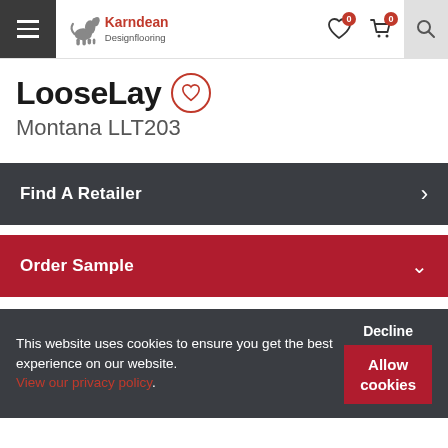Karndean Designflooring
LooseLay
Montana LLT203
Find A Retailer
Order Sample
This website uses cookies to ensure you get the best experience on our website. View our privacy policy. Decline Allow cookies